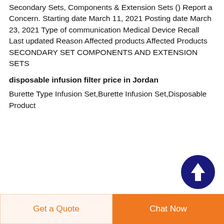Secondary Sets, Components & Extension Sets () Report a Concern. Starting date March 11, 2021 Posting date March 23, 2021 Type of communication Medical Device Recall Last updated Reason Affected products Affected Products SECONDARY SET COMPONENTS AND EXTENSION SETS
disposable infusion filter price in Jordan
Burette Type Infusion Set,Burette Infusion Set,Disposable Product